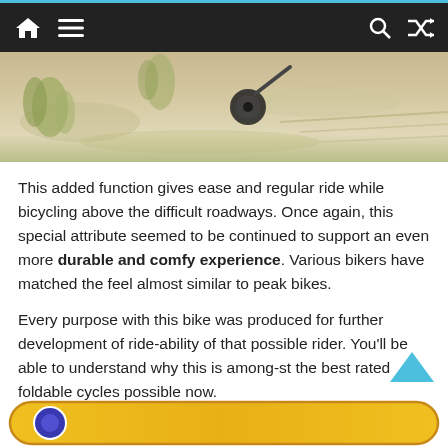Navigation bar with home, menu, search, and shuffle icons
[Figure (photo): Partial photo of a bicycle tire/wheel on sandy ground with grass]
This added function gives ease and regular ride while bicycling above the difficult roadways. Once again, this special attribute seemed to be continued to support an even more durable and comfy experience. Various bikers have matched the feel almost similar to peak bikes.
Every purpose with this bike was produced for further development of ride-ability of that possible rider. You’ll be able to understand why this is among-st the best rated foldable cycles possible now.